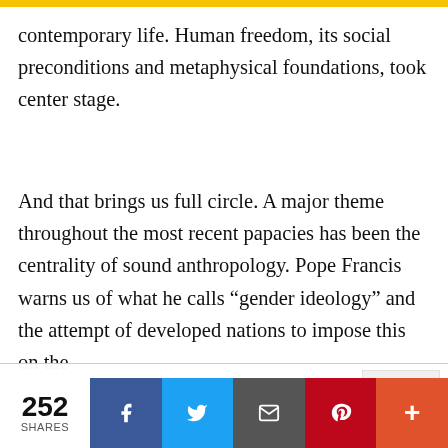contemporary life. Human freedom, its social preconditions and metaphysical foundations, took center stage.
And that brings us full circle. A major theme throughout the most recent papacies has been the centrality of sound anthropology. Pope Francis warns us of what he calls “gender ideology” and the attempt of developed nations to impose this on the
We use cookies on our website to give you the most relevant experience by remembering your preferences and repeat visits. By clicking “Accept All”, you consent to the use of ALL the cookies. However, you may visit “Cookie Settings” to provide a controlled consent.
252 SHARES